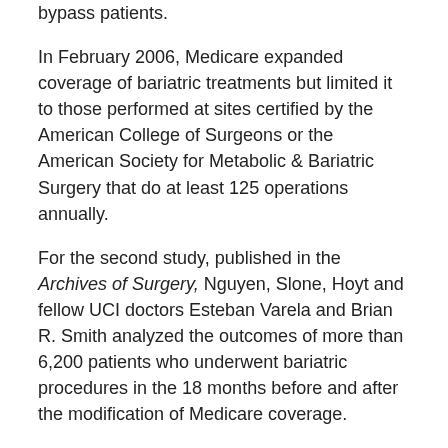bypass patients.
In February 2006, Medicare expanded coverage of bariatric treatments but limited it to those performed at sites certified by the American College of Surgeons or the American Society for Metabolic & Bariatric Surgery that do at least 125 operations annually.
For the second study, published in the Archives of Surgery, Nguyen, Slone, Hoyt and fellow UCI doctors Esteban Varela and Brian R. Smith analyzed the outcomes of more than 6,200 patients who underwent bariatric procedures in the 18 months before and after the modification of Medicare coverage.
While the frequency of bariatric surgery remained fairly steady in that period, the number of U.S. facilities offering it decreased from 60 to 45, reflecting a shift to high-volume, certified centers.
Researchers found that treatments at these centers resulted in shorter hospital stays and fewer